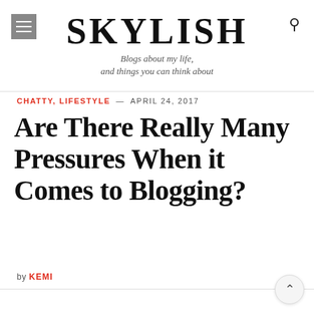SKYLISH — Blogs about my life, and things you can think about
CHATTY, LIFESTYLE — APRIL 24, 2017
Are There Really Many Pressures When it Comes to Blogging?
by KEMI